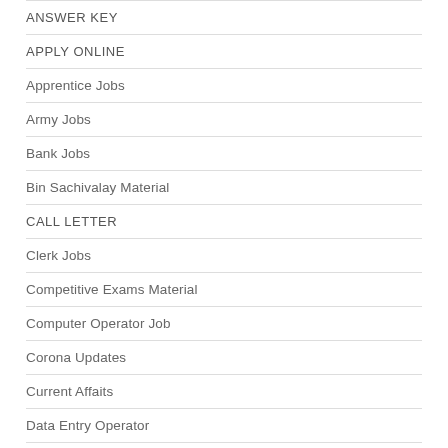ANSWER KEY
APPLY ONLINE
Apprentice Jobs
Army Jobs
Bank Jobs
Bin Sachivalay Material
CALL LETTER
Clerk Jobs
Competitive Exams Material
Computer Operator Job
Corona Updates
Current Affaits
Data Entry Operator
Diploma Jobs